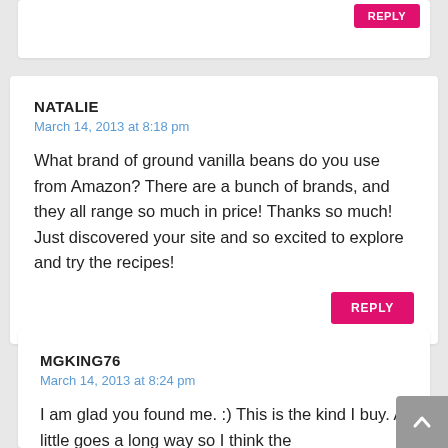[Partial comment card with REPLY button at top]
NATALIE
March 14, 2013 at 8:18 pm
What brand of ground vanilla beans do you use from Amazon? There are a bunch of brands, and they all range so much in price! Thanks so much! Just discovered your site and so excited to explore and try the recipes!
MGKING76
March 14, 2013 at 8:24 pm
I am glad you found me. :) This is the kind I buy. A little goes a long way so I think the